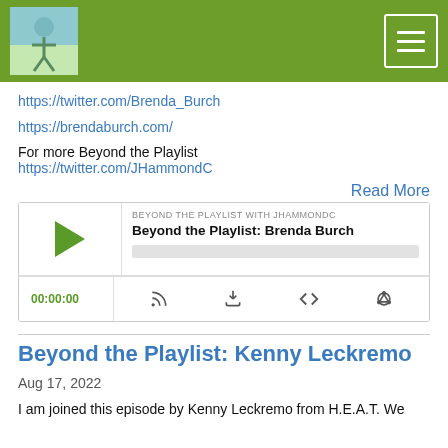[Figure (logo): Beyond the Playlist podcast logo - illustrated cartoon figure on green/blue background]
[Figure (other): Hamburger menu button with three white horizontal lines on green background]
https://twitter.com/Brenda_Burch
https://brendaburch.com/
For more Beyond the Playlist https://twitter.com/JHammondC
Read More
[Figure (other): Podcast player widget showing 'Beyond the Playlist: Brenda Burch' episode with play button, progress bar, timestamp 00:00:00, and controls for subscribe, download, embed, and share]
Beyond the Playlist: Kenny Leckremo
Aug 17, 2022
I am joined this episode by Kenny Leckremo from H.E.A.T. We